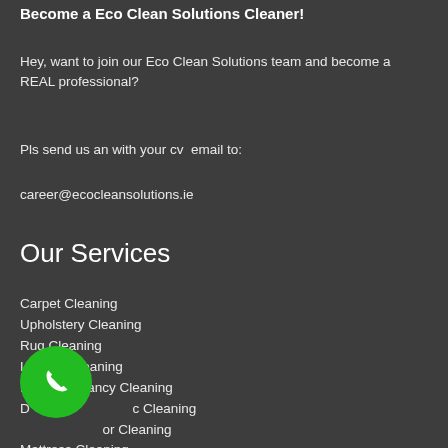Become a Eco Clean Solutions Cleaner!
Hey, want to join our Eco Clean Solutions team and become a REAL professional?
Pls send us an with your cv  email to:
career@ecocleansolutions.ie
Our Services
Carpet Cleaning
Upholstery Cleaning
Rug Cleaning
Leather Cleaning
End Of Tenancy Cleaning
Domestic Cleaning
Floor Cleaning
Mattress Cleaning
[Figure (illustration): Green circular phone call button icon]